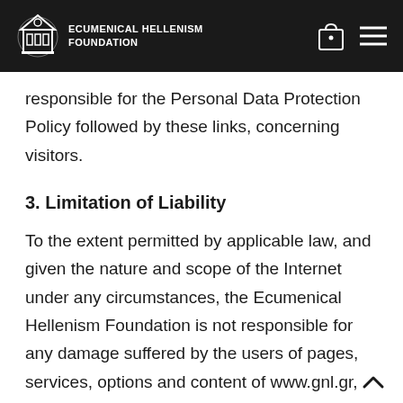ECUMENICAL HELLENISM FOUNDATION
responsible for the Personal Data Protection Policy followed by these links, concerning visitors.
3. Limitation of Liability
To the extent permitted by applicable law, and given the nature and scope of the Internet under any circumstances, the Ecumenical Hellenism Foundation is not responsible for any damage suffered by the users of pages, services, options and content of www.gnl.gr, made by their own initiative and with knowledge of the terms and conditions.